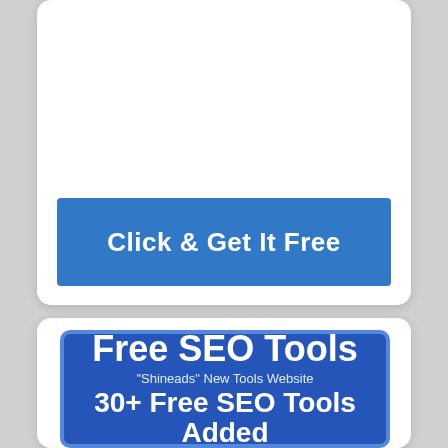[Figure (screenshot): A white rounded card with a blue button labeled 'Click & Get It Free' and below it another white rounded card containing a blue banner with 'Free SEO Tools', '"Shineads" New Tools Website', and '30+ Free SEO Tools Added']
Click & Get It Free
Free SEO Tools
"Shineads" New Tools Website
30+ Free SEO Tools Added